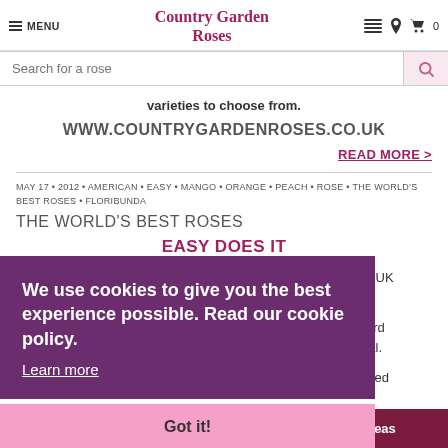MENU | Country Garden Roses
Search for a rose
varieties to choose from.
WWW.COUNTRYGARDENROSES.CO.UK
READ MORE >
MAY 17 • 2012 • AMERICAN • EASY • MANGO • ORANGE • PEACH • ROSE • THE WORLD'S BEST ROSES • FLORIBUNDA
THE WORLD'S BEST ROSES
EASY DOES IT
We use cookies to give you the best experience possible. Read our cookie policy. Learn more
Got it!